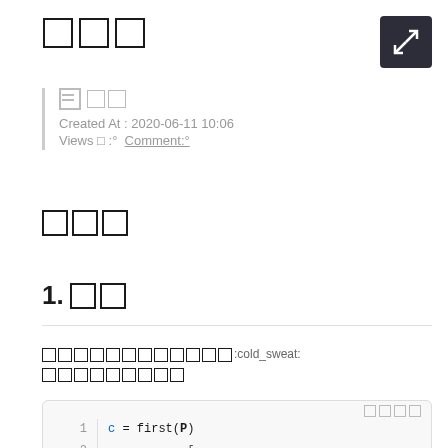□□□
□ □□
Created At : 2020-06-11 10:06
Views □ :° Comment:°
□□□
1. □□
□□□□□□□□□□□□:cold_sweat:
□□□□□□□□□
[Figure (screenshot): Code block showing: line 1: c = first(P), line 2: (truncated). Copy button boxes top right.]